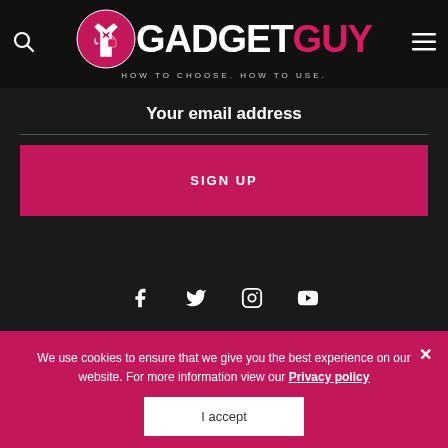[Figure (logo): GadgetGuy logo with circular icon, bold white GADGET and pink GUY text, tagline HOW TO CHOOSE. HOW TO USE.]
Your email address
SIGN UP
[Figure (illustration): Social media icons: Facebook, Twitter, Instagram, YouTube]
We use cookies to ensure that we give you the best experience on our website. For more information view our Privacy policy
I accept